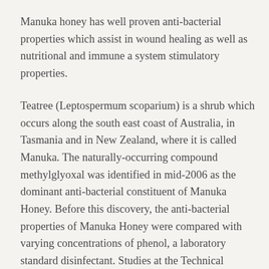Manuka honey has well proven anti-bacterial properties which assist in wound healing as well as nutritional and immune a system stimulatory properties.
Teatree (Leptospermum scoparium) is a shrub which occurs along the south east coast of Australia, in Tasmania and in New Zealand, where it is called Manuka. The naturally-occurring compound methylglyoxal was identified in mid-2006 as the dominant anti-bacterial constituent of Manuka Honey. Before this discovery, the anti-bacterial properties of Manuka Honey were compared with varying concentrations of phenol, a laboratory standard disinfectant. Studies at the Technical University of Dresden in Germany and at the University of Waikato in New Zealand, have now proven that the Manuka's antibacterial properties are directly related to methylglyoxal content. Methylglyoxal has been reported in foods such as milk